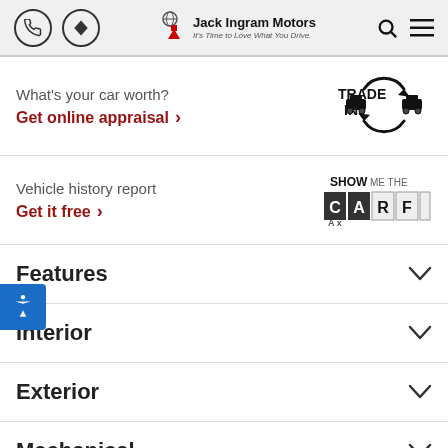Jack Ingram Motors — It's Time to Love What You Drive.
What's your car worth?
Get online appraisal >
[Figure (logo): Trade In logo with two cars in a circular arrow]
Vehicle history report
Get it free >
[Figure (logo): Show Me The CARFAX logo]
Features
Interior
Exterior
Mechanical